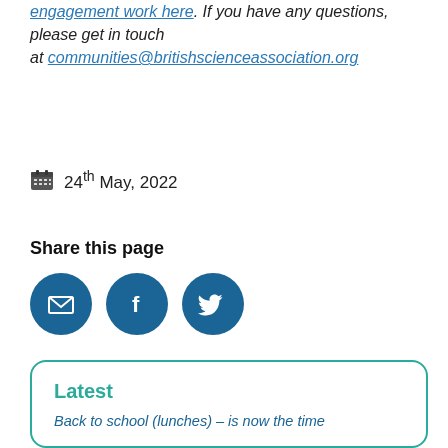engagement work here. If you have any questions, please get in touch at communities@britishscienceassociation.org
24th May, 2022
Share this page
[Figure (infographic): Three circular social media sharing buttons: email (envelope icon), Facebook (f icon), Twitter (bird icon), all in dark blue]
Latest
Back to school (lunches) – is now the time